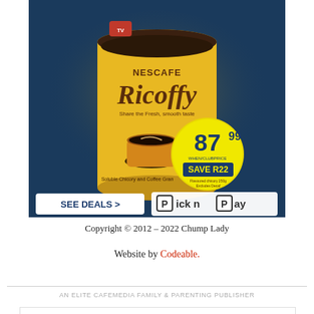[Figure (photo): Advertisement image for Nescafe Ricoffy coffee product on a dark blue background. Shows a yellow tin of Ricoffy with a cup of coffee, a yellow price badge showing 87.99, and text 'SAVE R22'. Below the product is a white button saying 'SEE DEALS >' and the Pick n Pay logo.]
Copyright © 2012 – 2022 Chump Lady
Website by Codeable.
AN ELITE CAFEMEDIA FAMILY & PARENTING PUBLISHER
[Figure (other): Advertisement banner for Mustang Extreme Water Containment Liners with a blue 'LEARN MORE' button and ad badges.]